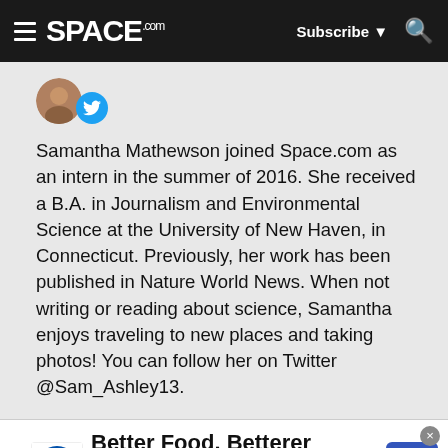SPACE.com — Subscribe — Search
[Figure (photo): Partial profile photo of Samantha Mathewson with Twitter bird icon overlay]
Samantha Mathewson joined Space.com as an intern in the summer of 2016. She received a B.A. in Journalism and Environmental Science at the University of New Haven, in Connecticut. Previously, her work has been published in Nature World News. When not writing or reading about science, Samantha enjoys traveling to new places and taking photos! You can follow her on Twitter @Sam_Ashley13.
[Figure (screenshot): Lidl advertisement banner: 'Better Food. Betterer Prices' with Lidl logo and arrow icon]